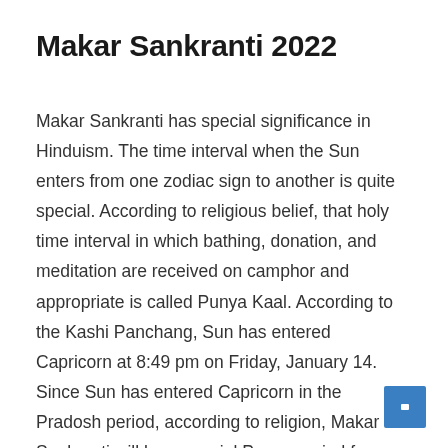Makar Sankranti 2022
Makar Sankranti has special significance in Hinduism. The time interval when the Sun enters from one zodiac sign to another is quite special. According to religious belief, that holy time interval in which bathing, donation, and meditation are received on camphor and appropriate is called Punya Kaal. According to the Kashi Panchang, Sun has entered Capricorn at 8:49 pm on Friday, January 14. Since Sun has entered Capricorn in the Pradosh period, according to religion, Makar Sankranti will be a special Punya period from sunrise to sunset on January 15, Saturday.
[Figure (other): Blue square button with a small white rectangle icon in the bottom-right corner]